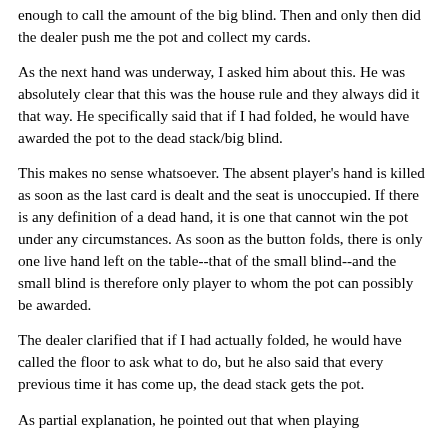enough to call the amount of the big blind. Then and only then did the dealer push me the pot and collect my cards.
As the next hand was underway, I asked him about this. He was absolutely clear that this was the house rule and they always did it that way. He specifically said that if I had folded, he would have awarded the pot to the dead stack/big blind.
This makes no sense whatsoever. The absent player's hand is killed as soon as the last card is dealt and the seat is unoccupied. If there is any definition of a dead hand, it is one that cannot win the pot under any circumstances. As soon as the button folds, there is only one live hand left on the table--that of the small blind--and the small blind is therefore only player to whom the pot can possibly be awarded.
The dealer clarified that if I had actually folded, he would have called the floor to ask what to do, but he also said that every previous time it has come up, the dead stack gets the pot.
As partial explanation, he pointed out that when playing